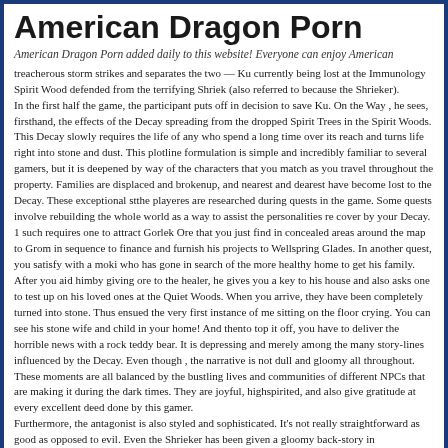American Dragon Porn
American Dragon Porn added daily to this website! Everyone can enjoy American
treacherous storm strikes and separates the two — Ku currently being lost at the Immunology Spirit Wood defended from the terrifying Shriek (also referred to because the Shrieker). In the first half the game, the participant puts off in decision to save Ku. On the Way , he sees, firsthand, the effects of the Decay spreading from the dropped Spirit Trees in the Spirit Woods. This Decay slowly requires the life of any who spend a long time over its reach and turns life right into stone and dust. This plotline formulation is simple and incredibly familiar to several gamers, but it is deepened by way of the characters that you match as you travel throughout the property. Families are displaced and brokenup, and nearest and dearest have become lost to the Decay. These exceptional stthe playeres are researched during quests in the game. Some quests involve rebuilding the whole world as a way to assist the personalities re cover by your Decay. 1 such requires one to attract Gorlek Ore that you just find in concealed areas around the map to Grom in sequence to finance and furnish his projects to Wellspring Glades. In another quest, you satisfy with a moki who has gone in search of the more healthy home to get his family. After you aid himby giving ore to the healer, he gives you a key to his house and also asks one to test up on his loved ones at the Quiet Woods. When you arrive, they have been completely turned into stone. Thus ensued the very first instance of me sitting on the floor crying. You can see his stone wife and child in your home! And thento top it off, you have to deliver the horrible news with a rock teddy bear. It is depressing and merely among the many story-lines influenced by the Decay. Even though , the narrative is not dull and gloomy all throughout. These moments are all balanced by the bustling lives and communities of different NPCs that are making it during the dark times. They are joyful, highspirited, and also give gratitude at every excellent deed done by this gamer. Furthermore, the antagonist is also styled and sophisticated. It's not really straightforward as good as opposed to evil. Even the Shrieker has been given a gloomy back-story in